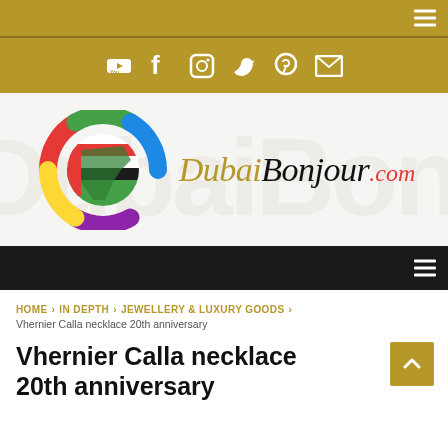DubaiBonjour.com — top navigation bar with hamburger menu
[Figure (other): Social media icon bar with YouTube, Facebook, Instagram, Twitter, Pinterest, and Email icons on gold background]
[Figure (logo): DubaiBonjour.com logo with circular UAE flag emblem and stylized script text]
Dark navigation bar with hamburger menu
HOME > IN DEPTH > JEWELLERY & LUXURY GOODS > Vhernier Calla necklace 20th anniversary
Vhernier Calla necklace 20th anniversary